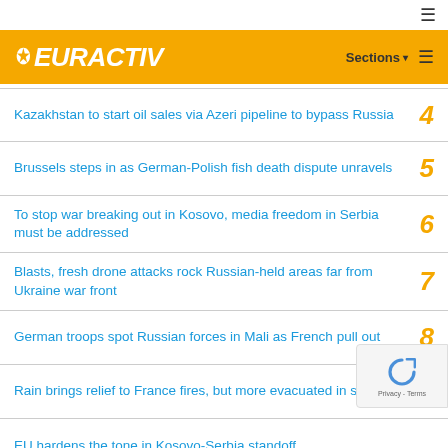EURACTIV — Sections
Kazakhstan to start oil sales via Azeri pipeline to bypass Russia
Brussels steps in as German-Polish fish death dispute unravels
To stop war breaking out in Kosovo, media freedom in Serbia must be addressed
Blasts, fresh drone attacks rock Russian-held areas far from Ukraine war front
German troops spot Russian forces in Mali as French pull out
Rain brings relief to France fires, but more evacuated in south
EU hardens the tone in Kosovo-Serbia standoff